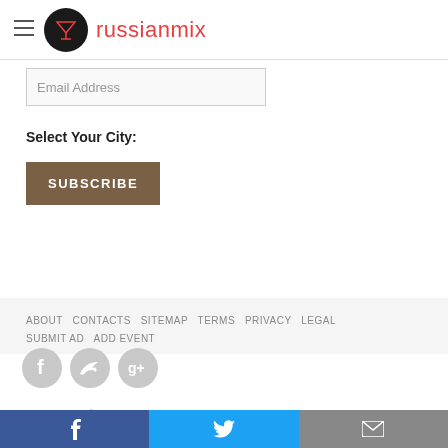russianmix
Email Address
Select Your City:
SUBSCRIBE
ABOUT  CONTACTS  SITEMAP  TERMS  PRIVACY  LEGAL  SUBMIT AD  ADD EVENT
[Figure (other): Social media icons: Facebook, Twitter, Google+]
COPYRIGHT © RUSSIANMIX.COM
Facebook share, Twitter share, Email share bottom bar